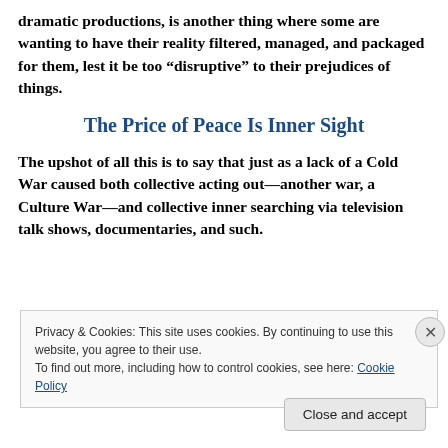dramatic productions, is another thing where some are wanting to have their reality filtered, managed, and packaged for them, lest it be too “disruptive” to their prejudices of things.
The Price of Peace Is Inner Sight
The upshot of all this is to say that just as a lack of a Cold War caused both collective acting out—another war, a Culture War—and collective inner searching via television talk shows, documentaries, and such.
Privacy & Cookies: This site uses cookies. By continuing to use this website, you agree to their use.
To find out more, including how to control cookies, see here: Cookie Policy